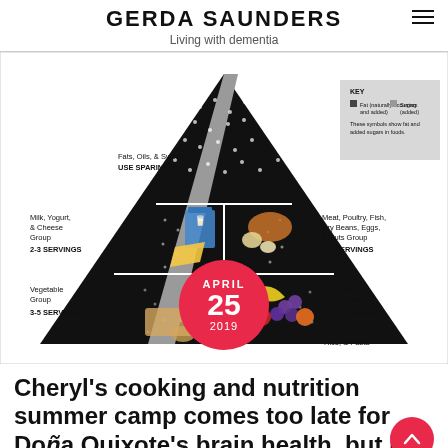GERDA SAUNDERS
Living with dementia
[Figure (infographic): USDA Food Guide Pyramid infographic showing food groups with serving recommendations: Fats, Oils & Sweets (USE SPARINGLY) at top; Milk, Yogurt & Cheese Group 2-3 SERVINGS and Meat, Poultry, Fish, Dry Beans, Eggs & Nuts Group 2-3 SERVINGS in middle; Vegetable Group 3-5 SERVINGS and Fruit Group 2-4 SERVINGS below; Bread, Cereal, Rice & Pasta at the base. KEY for fat and sugar symbols shown. Date circle overlay: APRIL 25 2019.]
Cheryl's cooking and nutrition summer camp comes too late for Doña Quixote's brain health, but is